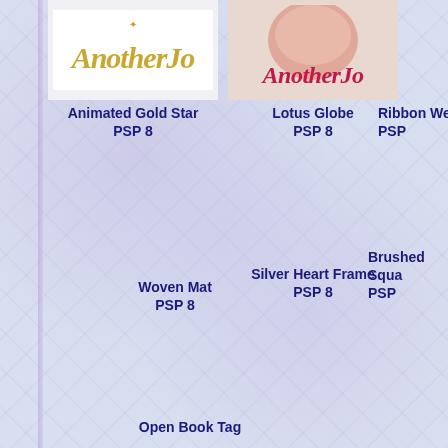[Figure (illustration): AnotherJo logo with golden italic text on white background]
Animated Gold Star
PSP 8
[Figure (illustration): AnotherJo logo with pink/red stylized text and face image]
Lotus Globe
PSP 8
Ribbon We...
PSP...
Woven Mat
PSP 8
Silver Heart Frame
PSP 8
Brushed
Squ...
PSP...
Open Book Tag